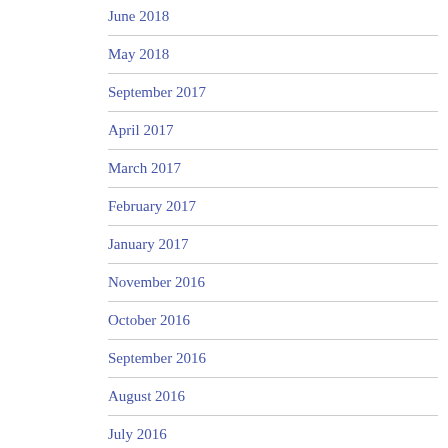June 2018
May 2018
September 2017
April 2017
March 2017
February 2017
January 2017
November 2016
October 2016
September 2016
August 2016
July 2016